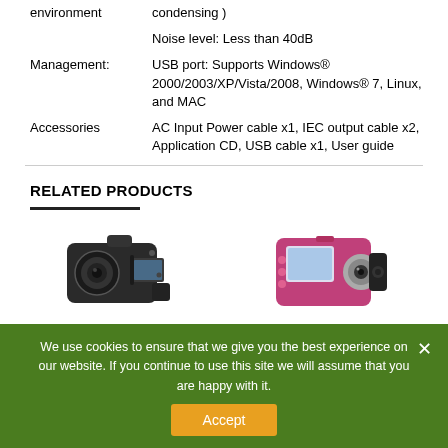| environment | condensing ) |
|  | Noise level: Less than 40dB |
| Management: | USB port: Supports Windows® 2000/2003/XP/Vista/2008, Windows® 7, Linux, and MAC |
| Accessories | AC Input Power cable x1, IEC output cable x2, Application CD, USB cable x1, User guide |
RELATED PRODUCTS
[Figure (photo): Black digital camcorder / video camera]
[Figure (photo): Pink/magenta compact digital camera]
We use cookies to ensure that we give you the best experience on our website. If you continue to use this site we will assume that you are happy with it.